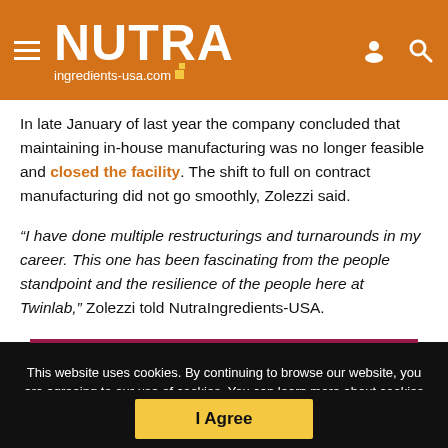NUTRA ingredients-usa.com
In late January of last year the company concluded that maintaining in-house manufacturing was no longer feasible and closed the facility. The shift to full on contract manufacturing did not go smoothly, Zolezzi said.
“I have done multiple restructurings and turnarounds in my career. This one has been fascinating from the people standpoint and the resilience of the people here at Twinlab,” Zolezzi told NutraIngredients-USA.
This website uses cookies. By continuing to browse our website, you are agreeing to our use of cookies. You can learn more about cookies by visiting our privacy & cookies policy page.
I Agree